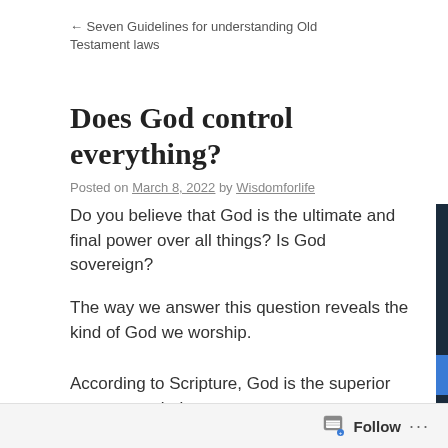← Seven Guidelines for understanding Old Testament laws
Does God control everything?
Posted on March 8, 2022 by Wisdomforlife
Do you believe that God is the ultimate and final power over all things? Is God sovereign?
The way we answer this question reveals the kind of God we worship.
According to Scripture, God is the superior or supreme being.
Describing the God we encounter in the Bible, one has writ… chooses to do, whenever he chooses to do it, wherever he…
Follow …